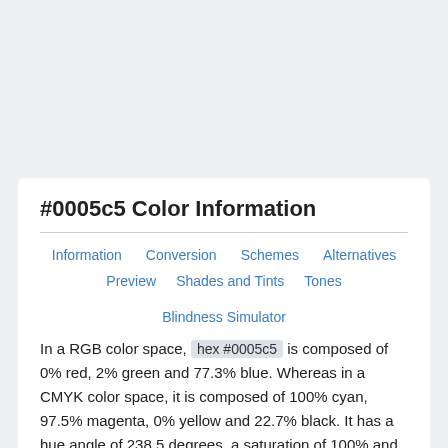#0005c5 Color Information
Information
Conversion
Schemes
Alternatives
Preview
Shades and Tints
Tones
Blindness Simulator
In a RGB color space, hex #0005c5 is composed of 0% red, 2% green and 77.3% blue. Whereas in a CMYK color space, it is composed of 100% cyan, 97.5% magenta, 0% yellow and 22.7% black. It has a hue angle of 238.5 degrees, a saturation of 100% and a lightness of 38.6%. #0005c5 color hex could be obtained by blending